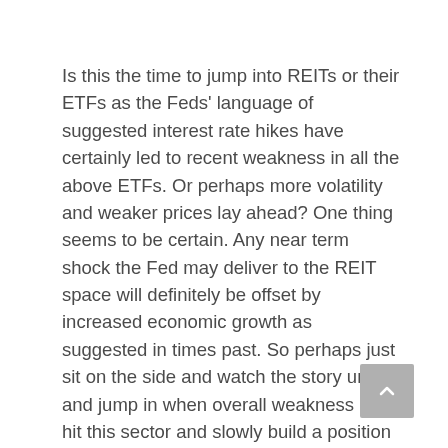Is this the time to jump into REITs or their ETFs as the Feds' language of suggested interest rate hikes have certainly led to recent weakness in all the above ETFs. Or perhaps more volatility and weaker prices lay ahead? One thing seems to be certain. Any near term shock the Fed may deliver to the REIT space will definitely be offset by increased economic growth as suggested in times past. So perhaps just sit on the side and watch the story unfold and jump in when overall weakness has hit this sector and slowly build a position that offers a decent yield and potential future growth.